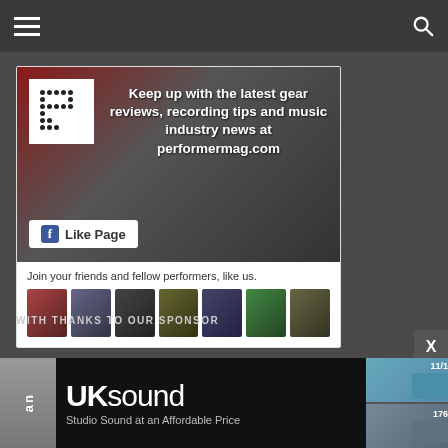Navigation bar with hamburger menu and search icon
[Figure (screenshot): Facebook Like Page widget for performermag.com showing guitar player banner with text 'Keep up with the latest gear reviews, recording tips and music industry news at performermag.com', a Like Page button, and a row of friend thumbnails. Caption reads: Join your friends and fellow performers, like us.]
WITH THANKS TO OUR SPONSOR
[Figure (screenshot): UK Sound advertisement banner with logo 'UKsound' and tagline 'Studio Sound at an Affordable Price' on black background with device images on the right]